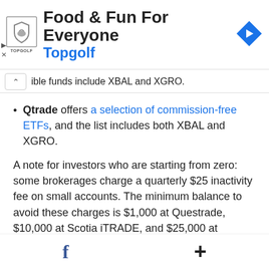[Figure (logo): Topgolf advertisement banner with logo and navigation icon. Text: 'Food & Fun For Everyone' and 'Topgolf']
ible funds include XBAL and XGRO.
Qtrade offers a selection of commission-free ETFs, and the list includes both XBAL and XGRO.
A note for investors who are starting from zero: some brokerages charge a quarterly $25 inactivity fee on small accounts. The minimum balance to avoid these charges is $1,000 at Questrade, $10,000 at Scotia iTRADE, and $25,000 at Qtrade. Read the fine print before you open your account.
f +